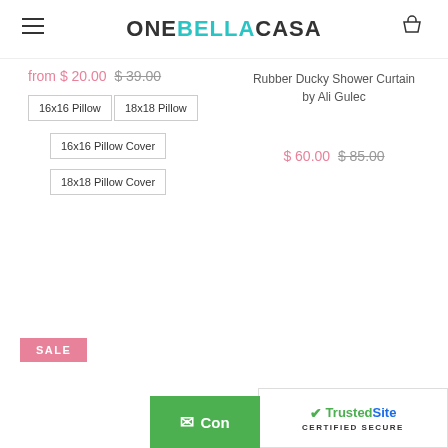ONEBELLACASA
from $ 20.00  $ 39.00
16x16 Pillow
18x18 Pillow
16x16 Pillow Cover
18x18 Pillow Cover
Rubber Ducky Shower Curtain by Ali Gulec
$ 60.00  $ 85.00
SALE
[Figure (logo): TrustedSite CERTIFIED SECURE badge]
Con...